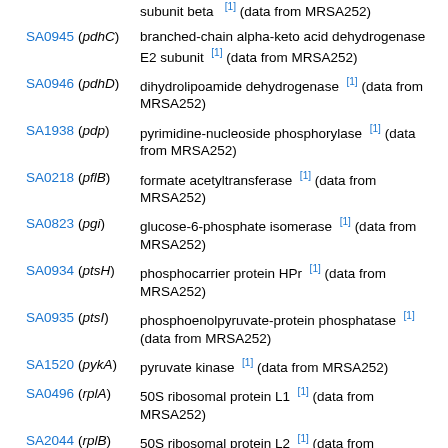SA0945 (pdhC) branched-chain alpha-keto acid dehydrogenase E2 subunit [1] (data from MRSA252)
SA0946 (pdhD) dihydrolipoamide dehydrogenase [1] (data from MRSA252)
SA1938 (pdp) pyrimidine-nucleoside phosphorylase [1] (data from MRSA252)
SA0218 (pflB) formate acetyltransferase [1] (data from MRSA252)
SA0823 (pgi) glucose-6-phosphate isomerase [1] (data from MRSA252)
SA0934 (ptsH) phosphocarrier protein HPr [1] (data from MRSA252)
SA0935 (ptsI) phosphoenolpyruvate-protein phosphatase [1] (data from MRSA252)
SA1520 (pykA) pyruvate kinase [1] (data from MRSA252)
SA0496 (rplA) 50S ribosomal protein L1 [1] (data from MRSA252)
SA2044 (rplB) 50S ribosomal protein L2 [1] (data from MRSA252)
50S ribosomal protein L3 [1] (data from